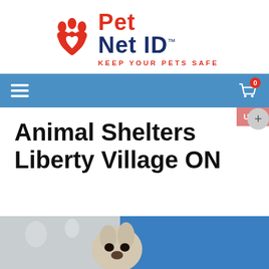[Figure (logo): Pet Net ID logo: red paw print with heart, 'Pet' in red bold text, 'Net ID' in dark blue bold text with TM symbol, tagline 'KEEP YOUR PETS SAFE' in red spaced letters]
[Figure (screenshot): Blue navigation bar with white hamburger menu icon on left, white shopping cart icon with red badge showing '0' on right]
[Figure (infographic): Pink/red USD currency tab on right side]
Animal Shelters Liberty Village ON
[Figure (photo): Partial photo of a French bulldog puppy being held by a person in a blue shirt, in a clinical/veterinary setting]